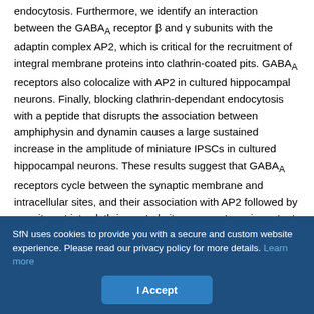endocytosis. Furthermore, we identify an interaction between the GABAA receptor β and γ subunits with the adaptin complex AP2, which is critical for the recruitment of integral membrane proteins into clathrin-coated pits. GABAA receptors also colocalize with AP2 in cultured hippocampal neurons. Finally, blocking clathrin-dependant endocytosis with a peptide that disrupts the association between amphiphysin and dynamin causes a large sustained increase in the amplitude of miniature IPSCs in cultured hippocampal neurons. These results suggest that GABAA receptors cycle between the synaptic membrane and intracellular sites, and their association with AP2 followed by recruitment into clathrin-coated pits represents an important mechanism in the postsynaptic modulation of inhibitory synaptic transmission.
SfN uses cookies to provide you with a secure and custom website experience. Please read our privacy policy for more details. Learn more
I Accept